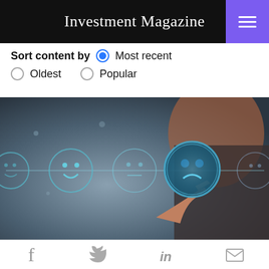Investment Magazine
Sort content by   Most recent   Oldest   Popular
[Figure (photo): Person in business suit pointing finger at a glowing sad face emoji icon among a row of emoji rating icons on a dark blue digital interface background]
Social share icons: Facebook, Twitter, LinkedIn, Email